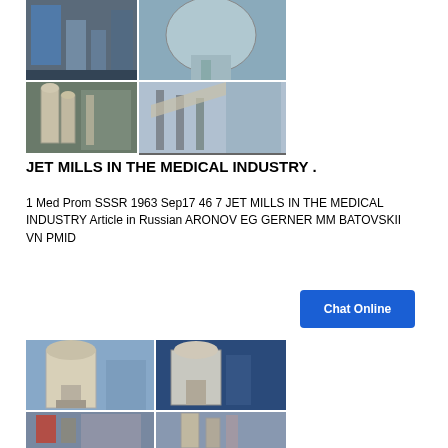[Figure (photo): Collage of industrial jet mill / grinding equipment photos showing various factory and machinery installations]
JET MILLS IN THE MEDICAL INDUSTRY .
1 Med Prom SSSR 1963 Sep17 46 7 JET MILLS IN THE MEDICAL INDUSTRY Article in Russian ARONOV EG GERNER MM BATOVSKII VN PMID
[Figure (photo): Collage of industrial grinding mill equipment photos showing machinery in outdoor and indoor settings]